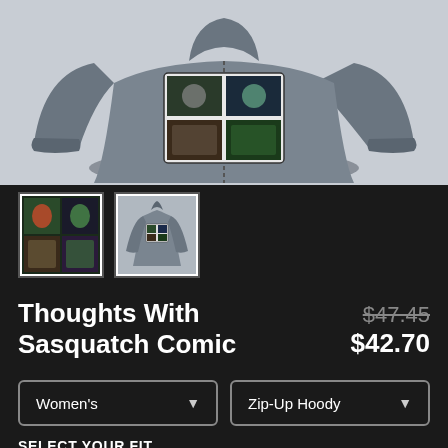[Figure (photo): Gray zip-up hoodie with comic book graphic print on the back, displayed on white background]
[Figure (photo): Thumbnail 1: close-up of comic book graphic panels with colorful characters]
[Figure (photo): Thumbnail 2: gray zip-up hoodie showing back graphic, small view]
Thoughts With Sasquatch Comic
$47.45 $42.70
Women's
Zip-Up Hoody
SELECT YOUR FIT